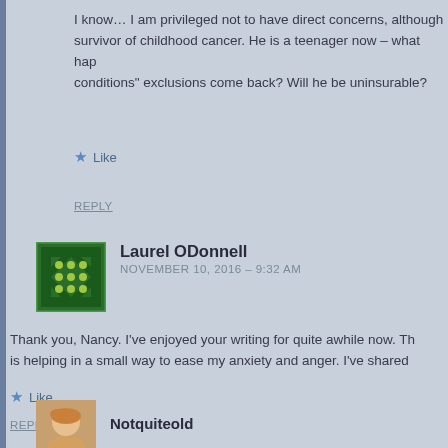I know… I am privileged not to have direct concerns, although survivor of childhood cancer. He is a teenager now – what hap conditions" exclusions come back? Will he be uninsurable?
★ Like
REPLY
Laurel ODonnell
NOVEMBER 10, 2016 – 9:32 AM
Thank you, Nancy. I've enjoyed your writing for quite awhile now. Th is helping in a small way to ease my anxiety and anger. I've shared
★ Like
REPLY
Notquiteold